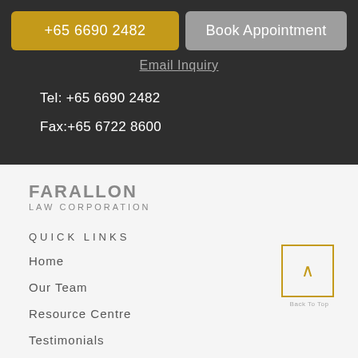[Figure (screenshot): Gold phone button showing '+65 6690 2482' and grey 'Book Appointment' button side by side]
Email Inquiry
Tel: +65 6690 2482
Fax:+65 6722 8600
FARALLON
LAW CORPORATION
QUICK LINKS
Home
Our Team
Resource Centre
Testimonials
Back To Top